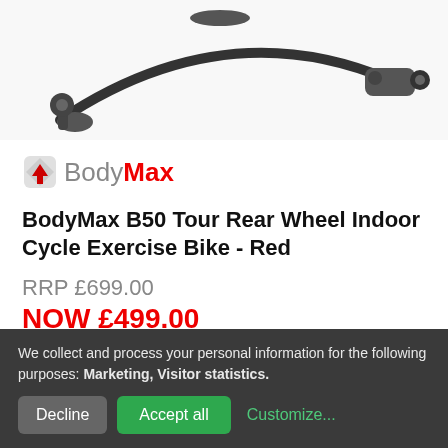[Figure (photo): Partial view of a BodyMax B50 Tour Rear Wheel Indoor Cycle Exercise Bike showing the frame and roller mechanism on a white background]
[Figure (logo): BodyMax logo with red diamond/arrow icon and two-tone text: 'Body' in grey and 'Max' in red]
BodyMax B50 Tour Rear Wheel Indoor Cycle Exercise Bike - Red
RRP £699.00
NOW £499.00
View Product
We collect and process your personal information for the following purposes: Marketing, Visitor statistics.
Decline
Accept all
Customize...